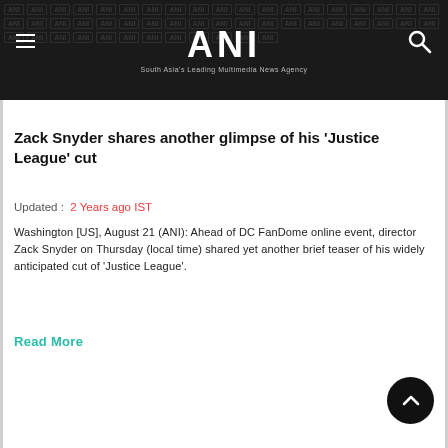ANI — South Asia's Leading Multimedia News Agency
Zack Snyder shares another glimpse of his 'Justice League' cut
Updated : 2 Years ago IST
Washington [US], August 21 (ANI): Ahead of DC FanDome online event, director Zack Snyder on Thursday (local time) shared yet another brief teaser of his widely anticipated cut of 'Justice League'.
Read More